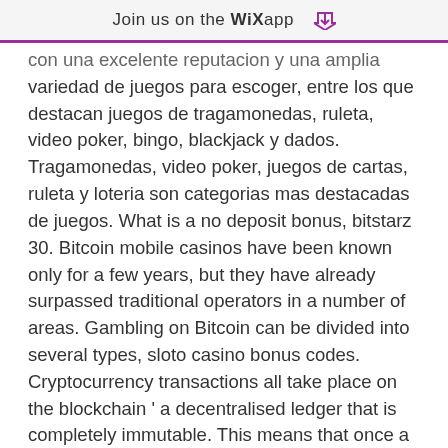Join us on the WiX app ↓
con una excelente reputacion y una amplia variedad de juegos para escoger, entre los que destacan juegos de tragamonedas, ruleta, video poker, bingo, blackjack y dados. Tragamonedas, video poker, juegos de cartas, ruleta y loteria son categorias mas destacadas de juegos. What is a no deposit bonus, bitstarz 30. Bitcoin mobile casinos have been known only for a few years, but they have already surpassed traditional operators in a number of areas. Gambling on Bitcoin can be divided into several types, sloto casino bonus codes. Cryptocurrency transactions all take place on the blockchain ' a decentralised ledger that is completely immutable. This means that once a transaction is made, it is permanent and cannot be reversed, edited, deleted , or otherwise tampered with, bitstarz bono sin depósito 20 ücretsiz döndürme.